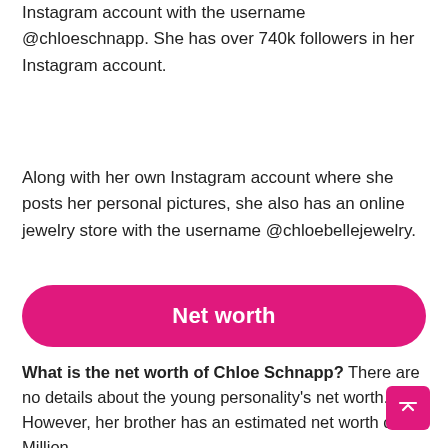Instagram account with the username @chloeschnapp. She has over 740k followers in her Instagram account.
Along with her own Instagram account where she posts her personal pictures, she also has an online jewelry store with the username @chloebellejewelry.
Net worth
What is the net worth of Chloe Schnapp? There are no details about the young personality's net worth. However, her brother has an estimated net worth of $1 Million.